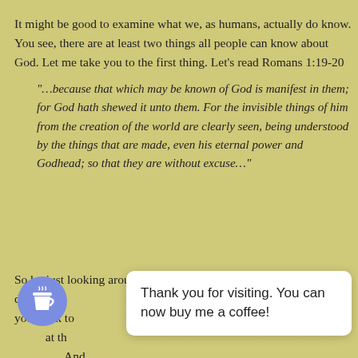It might be good to examine what we, as humans, actually do know. You see, there are at least two things all people can know about God. Let me take you to the first thing. Let's read Romans 1:19-20
"…because that which may be known of God is manifest in them; for God hath shewed it unto them. For the invisible things of him from the creation of the world are clearly seen, being understood by the things that are made, even his eternal power and Godhead; so that they are without excuse…"
So by just looking around us, we should know there is a God! I don't care how highly educated you are, how much you think to... at th... And... evolution isn't even discussed among most un-reached
Thank you for visiting. You can now buy me a coffee!